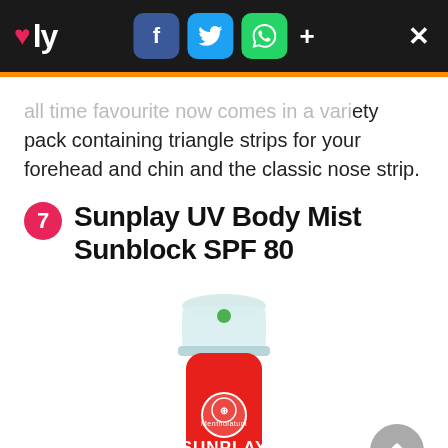♥ly | f tw © + ×
all time favourite now comes in a variety pack containing triangle strips for your forehead and chin and the classic nose strip.
7 Sunplay UV Body Mist Sunblock SPF 80
[Figure (photo): Sunplay UV Body Mist Sunblock SPF 80 product in a red aerosol can with clear cap, SUNPLAY text on can]